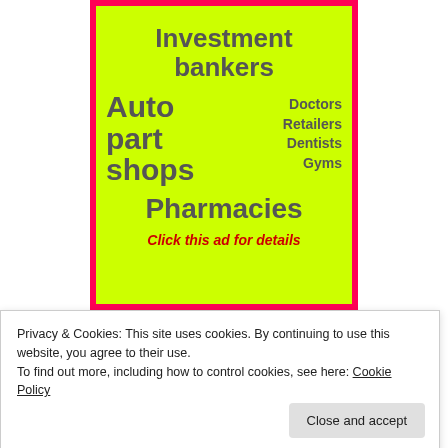[Figure (infographic): Advertisement on lime-green background with hot-pink border listing: Investment bankers, Auto part shops, Doctors, Retailers, Dentists, Gyms, Pharmacies, with 'Click this ad for details' in red italic bold at bottom.]
Privacy & Cookies: This site uses cookies. By continuing to use this website, you agree to their use. To find out more, including how to control cookies, see here: Cookie Policy
Close and accept
[Figure (other): Partial view of another advertisement at the bottom showing 'REMOVED!' text on lime-green background.]